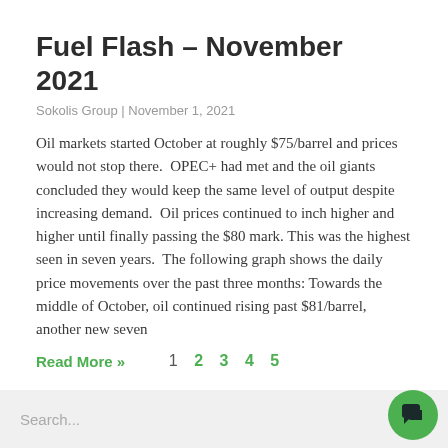Fuel Flash – November 2021
Sokolis Group | November 1, 2021
Oil markets started October at roughly $75/barrel and prices would not stop there.  OPEC+ had met and the oil giants concluded they would keep the same level of output despite increasing demand.  Oil prices continued to inch higher and higher until finally passing the $80 mark. This was the highest seen in seven years.  The following graph shows the daily price movements over the past three months: Towards the middle of October, oil continued rising past $81/barrel, another new seven
Read More »
1  2  3  4  5